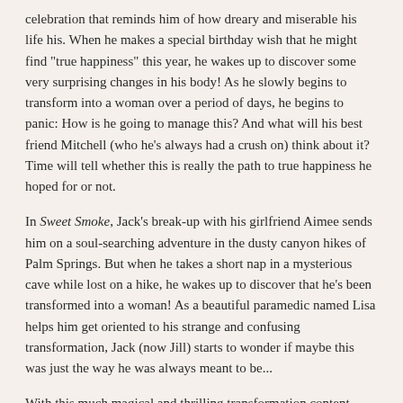celebration that reminds him of how dreary and miserable his life his. When he makes a special birthday wish that he might find "true happiness" this year, he wakes up to discover some very surprising changes in his body! As he slowly begins to transform into a woman over a period of days, he begins to panic: How is he going to manage this? And what will his best friend Mitchell (who he's always had a crush on) think about it? Time will tell whether this is really the path to true happiness he hoped for or not.
In Sweet Smoke, Jack's break-up with his girlfriend Aimee sends him on a soul-searching adventure in the dusty canyon hikes of Palm Springs. But when he takes a short nap in a mysterious cave while lost on a hike, he wakes up to discover that he's been transformed into a woman! As a beautiful paramedic named Lisa helps him get oriented to his strange and confusing transformation, Jack (now Jill) starts to wonder if maybe this was just the way he was always meant to be...
With this much magical and thrilling transformation content, what are you waiting for? Get it today!